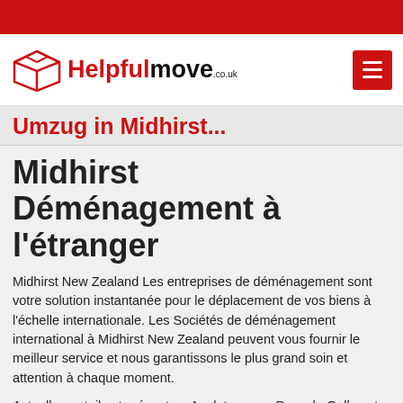[Figure (logo): HelpfulMove.co.uk logo with red box icon and hamburger menu button]
Umzug in Midhirst...
Midhirst Déménagement à l'étranger
Midhirst New Zealand Les entreprises de déménagement sont votre solution instantanée pour le déplacement de vos biens à l'échelle internationale. Les Sociétés de déménagement international à Midhirst New Zealand peuvent vous fournir le meilleur service et nous garantissons le plus grand soin et attention à chaque moment.
Actuellement, il est présent en Angleterre, au Pays de Galles et en Ecosse, en Irlande du Nord, en Allemagne, en France,